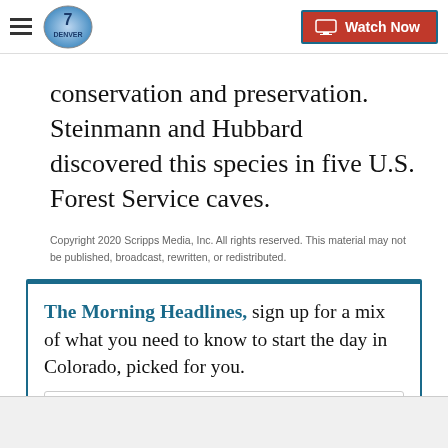Denver7 - Watch Now
conservation and preservation. Steinmann and Hubbard discovered this species in five U.S. Forest Service caves.
Copyright 2020 Scripps Media, Inc. All rights reserved. This material may not be published, broadcast, rewritten, or redistributed.
The Morning Headlines, sign up for a mix of what you need to know to start the day in Colorado, picked for you.